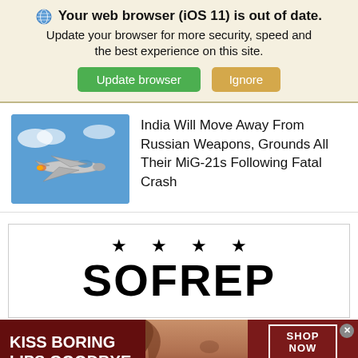🌐 Your web browser (iOS 11) is out of date. Update your browser for more security, speed and the best experience on this site. Update browser | Ignore
[Figure (screenshot): Thumbnail image of a MiG-21 fighter jet in flight against a blue sky background]
India Will Move Away From Russian Weapons, Grounds All Their MiG-21s Following Fatal Crash
[Figure (logo): SOFREP logo with four stars above the bold text SOFREP]
[Figure (infographic): Macy's advertisement banner: KISS BORING LIPS GOODBYE with woman's face and SHOP NOW button and Macy's star logo]